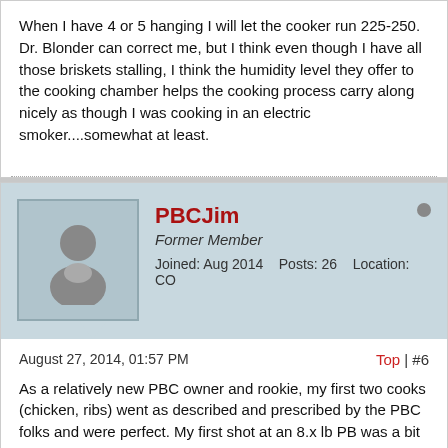When I have 4 or 5 hanging I will let the cooker run 225-250. Dr. Blonder can correct me, but I think even though I have all those briskets stalling, I think the humidity level they offer to the cooking chamber helps the cooking process carry along nicely as though I was cooking in an electric smoker....somewhat at least.
PBCJim
Former Member
Joined: Aug 2014    Posts: 26    Location: CO
August 27, 2014, 01:57 PM
Top | #6
As a relatively new PBC owner and rookie, my first two cooks (chicken, ribs) went as described and prescribed by the PBC folks and were perfect. My first shot at an 8.x lb PB was a bit more challenging as I hit a stall starting about 125 that was